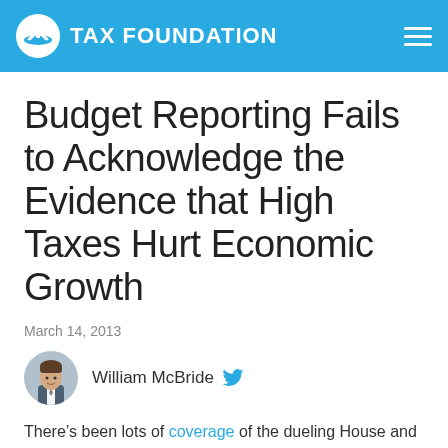TAX FOUNDATION
Budget Reporting Fails to Acknowledge the Evidence that High Taxes Hurt Economic Growth
March 14, 2013
William McBride
There’s been lots of coverage of the dueling House and Senate budgets that were released this week and how they represent such contrasting views of the proper size and role of the federal